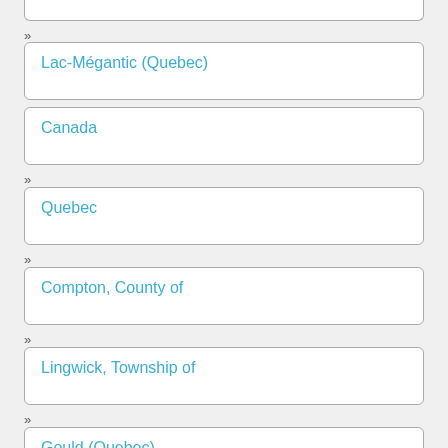Lac-Mégantic (Quebec)
Canada
Quebec
Compton, County of
Lingwick, Township of
Gould (Quebec)